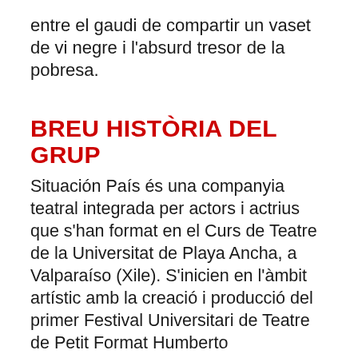entre el gaudi de compartir un vaset de vi negre i l'absurd tresor de la pobresa.
BREU HISTÒRIA DEL GRUP
Situación País és una companyia teatral integrada per actors i actrius que s'han format en el Curs de Teatre de la Universitat de Playa Ancha, a Valparaíso (Xile). S'inicien en l'àmbit artístic amb la creació i producció del primer Festival Universitari de Teatre de Petit Format Humberto Duvauchelle, projecte que lideren durant dos anys consecutius i que enguany arriba a la vuitena edició.